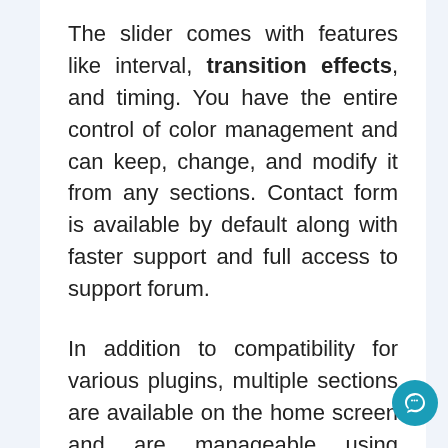The slider comes with features like interval, transition effects, and timing. You have the entire control of color management and can keep, change, and modify it from any sections. Contact form is available by default along with faster support and full access to support forum.
In addition to compatibility for various plugins, multiple sections are available on the home screen and are manageable using shortcodes. You get exclusive support via email for this retina ready and fast theme.